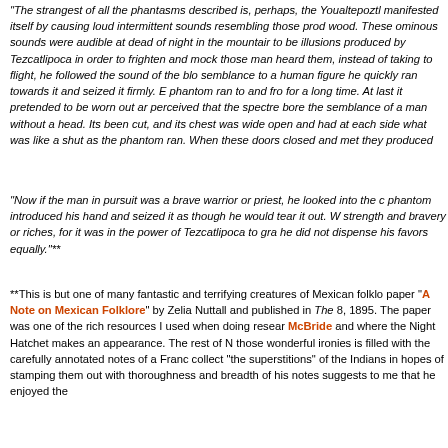"The strangest of all the phantasms described is, perhaps, the Youaltepoztli manifested itself by causing loud intermittent sounds resembling those prod wood. These ominous sounds were audible at dead of night in the mountain to be illusions produced by Tezcatlipoca in order to frighten and mock those man heard them, instead of taking to flight, he followed the sound of the blo semblance to a human figure he quickly ran towards it and seized it firmly. B phantom ran to and fro for a long time. At last it pretended to be worn out ar perceived that the spectre bore the semblance of a man without a head. Its been cut, and its chest was wide open and had at each side what was like a shut as the phantom ran. When these doors closed and met they produced
"Now if the man in pursuit was a brave warrior or priest, he looked into the c phantom introduced his hand and seized it as though he would tear it out. W strength and bravery or riches, for it was in the power of Tezcatlipoca to gra he did not dispense his favors equally."**
**This is but one of many fantastic and terrifying creatures of Mexican folklo paper "A Note on Mexican Folklore" by Zelia Nuttall and published in The 8, 1895. The paper was one of the rich resources I used when doing resear McBride and where the Night Hatchet makes an appearance. The rest of N those wonderful ironies is filled with the carefully annotated notes of a Franc collect "the superstitions" of the Indians in hopes of stamping them out with thoroughness and breadth of his notes suggests to me that he enjoyed the